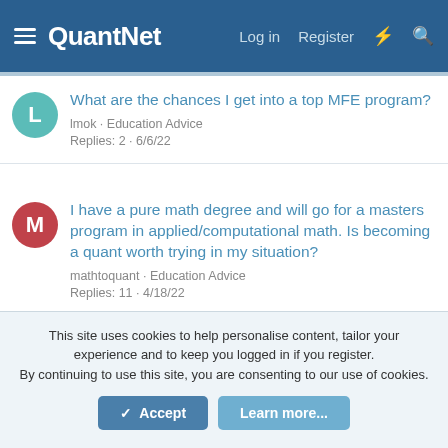QuantNet | Log in | Register
What are the chances I get into a top MFE program?
lmok · Education Advice
Replies: 2 · 6/6/22
I have a pure math degree and will go for a masters program in applied/computational math. Is becoming a quant worth trying in my situation?
mathtoquant · Education Advice
Replies: 11 · 4/18/22
Seeking advice on prerequistes for MFE and Ms application prep
This site uses cookies to help personalise content, tailor your experience and to keep you logged in if you register.
By continuing to use this site, you are consenting to our use of cookies.